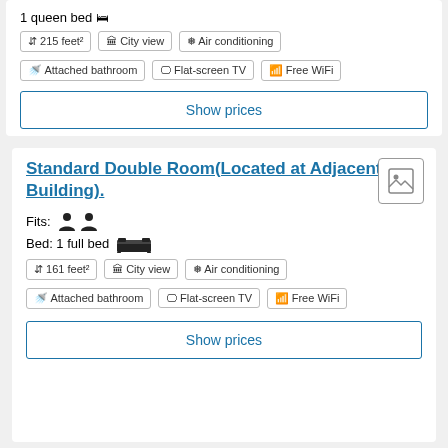1 queen bed 🛏
215 feet² | City view | Air conditioning
Attached bathroom | Flat-screen TV | Free WiFi
Show prices
Standard Double Room(Located at Adjacent Building).
Fits: 👤 👤
Bed: 1 full bed 🛏
161 feet² | City view | Air conditioning
Attached bathroom | Flat-screen TV | Free WiFi
Show prices